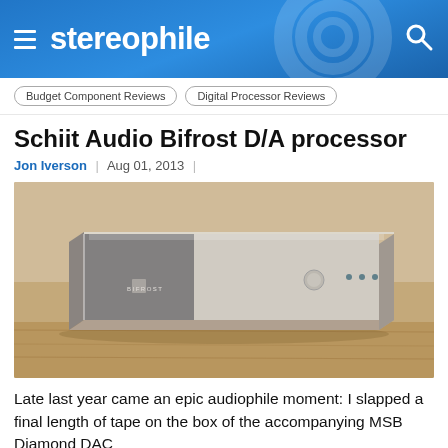stereophile
Budget Component Reviews
Digital Processor Reviews
Schiit Audio Bifrost D/A processor
Jon Iverson  |  Aug 01, 2013  |
[Figure (photo): Photo of the Schiit Audio Bifrost D/A processor unit — a silver/champagne colored rectangular box with the Schiit logo and 'BIFROST' text on the front panel, sitting on a wooden surface.]
Late last year came an epic audiophile moment: I slapped a final length of tape on the box of the accompanying MSB Diamond DAC...